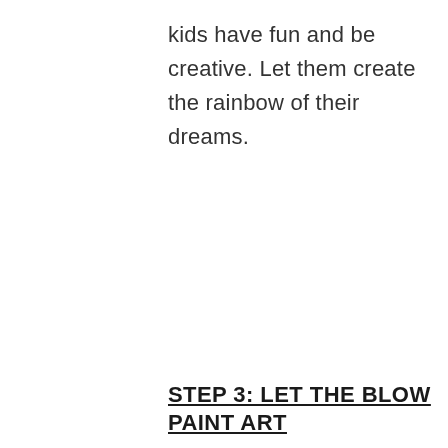kids have fun and be creative. Let them create the rainbow of their dreams.
STEP 3: LET THE BLOW PAINT ART